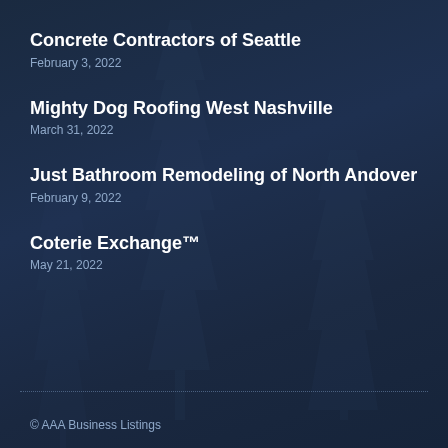Concrete Contractors of Seattle
February 3, 2022
Mighty Dog Roofing West Nashville
March 31, 2022
Just Bathroom Remodeling of North Andover
February 9, 2022
Coterie Exchange™
May 21, 2022
© AAA Business Listings